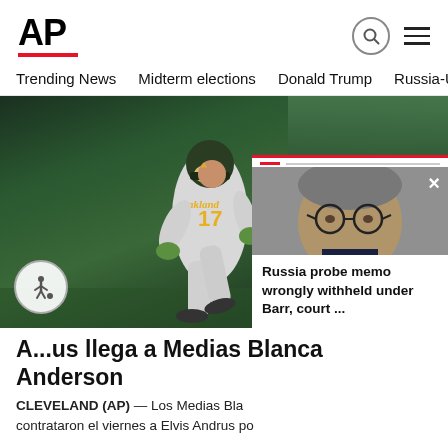AP
Trending News  Midterm elections  Donald Trump  Russia-Ukr
[Figure (photo): Oakland Athletics player #17 running on baseball field at night, wearing green and gold uniform]
[Figure (photo): Popup card showing a man with glasses (William Barr) with text: Russia probe memo wrongly withheld under Barr, court ...]
A...us llega a Medias Blancas... Anderson
CLEVELAND (AP) — Los Medias Bla... contrataron el viernes a Elvis Andrus po